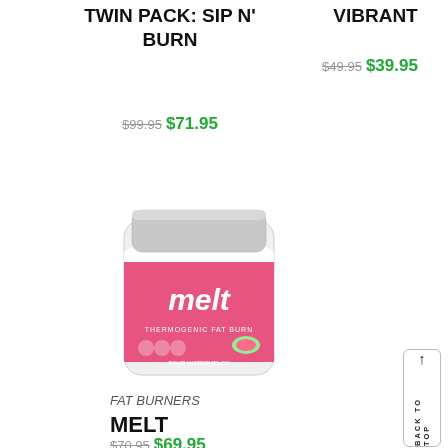TWIN PACK: SIP N' BURN
$99.95  $71.95
VIBRANT
$49.95  $39.95
[Figure (photo): A pink and white supplement container labeled 'melt thermogenic fat burner' with a watermelon flavor design]
FAT BURNERS
MELT
$70.95  $69.95